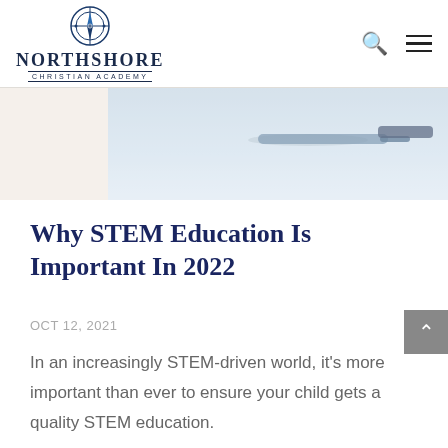Northshore Christian Academy
[Figure (photo): Blurred close-up photo of a scientific instrument or pen on a light background]
Why STEM Education Is Important In 2022
OCT 12, 2021
In an increasingly STEM-driven world, it's more important than ever to ensure your child gets a quality STEM education.
Read More